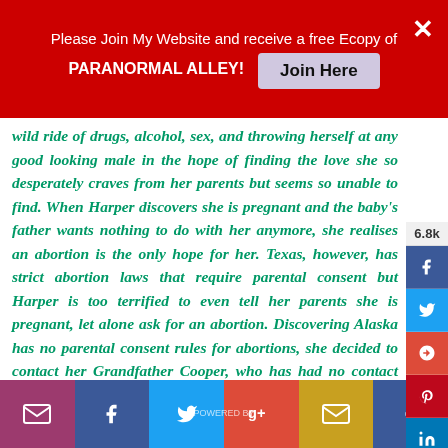Please Join My Website and receive a free Ecopy of PARANORMAL ALLEY! Join Here
wild ride of drugs, alcohol, sex, and throwing herself at any good looking male in the hope of finding the love she so desperately craves from her parents but seems so unable to find. When Harper discovers she is pregnant and the baby's father wants nothing to do with her anymore, she realises an abortion is the only hope for her. Texas, however, has strict abortion laws that require parental consent but Harper is too terrified to even tell her parents she is pregnant, let alone ask for an abortion. Discovering Alaska has no parental consent rules for abortions, she decided to contact her Grandfather Cooper, who has had no contact with the family since Harper was small, to try to wheedle a way into getting sent to Alaska to be with him. Cooper, who is suffering his own difficult trials, is thrilled with the idea of seeing his family again and so begins a voyage of discovery for both Grandfather and Granddaughter.
This is the second Glen Sobey book I have read and No Fences in Alaska greatly fulfilled the promise I saw in this author's first work.
[social sharing bar: email, facebook, twitter, google+, email, facebook]